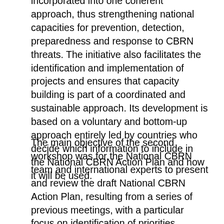incorporated into one coherent approach, thus strengthening national capacities for prevention, detection, preparedness and response to CBRN threats. The initiative also facilitates the identification and implementation of projects and ensures that capacity building is part of a coordinated and sustainable approach. Its development is based on a voluntary and bottom-up approach entirely led by countries who decide which information to include in the National CBRN Action Plan and how it will be used.
The main objective of the second workshop was for the National CBRN team and international experts to present and review the draft National CBRN Action Plan, resulting from a series of previous meetings, with a particular focus on identification of priorities. Among these, the management of epidemies and in particular of